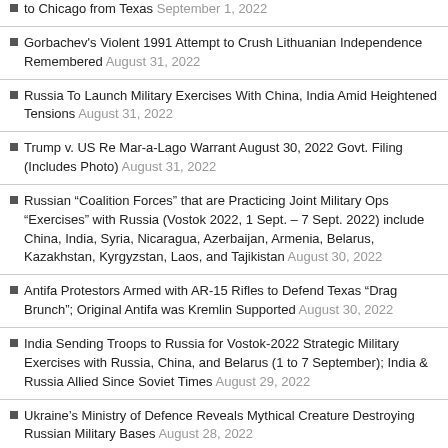to Chicago from Texas September 1, 2022
Gorbachev's Violent 1991 Attempt to Crush Lithuanian Independence Remembered August 31, 2022
Russia To Launch Military Exercises With China, India Amid Heightened Tensions August 31, 2022
Trump v. US Re Mar-a-Lago Warrant August 30, 2022 Govt. Filing (Includes Photo) August 31, 2022
Russian "Coalition Forces" that are Practicing Joint Military Ops "Exercises" with Russia (Vostok 2022, 1 Sept. – 7 Sept. 2022) include China, India, Syria, Nicaragua, Azerbaijan, Armenia, Belarus, Kazakhstan, Kyrgyzstan, Laos, and Tajikistan August 30, 2022
Antifa Protestors Armed with AR-15 Rifles to Defend Texas "Drag Brunch"; Original Antifa was Kremlin Supported August 30, 2022
India Sending Troops to Russia for Vostok-2022 Strategic Military Exercises with Russia, China, and Belarus (1 to 7 September); India & Russia Allied Since Soviet Times August 29, 2022
Ukraine's Ministry of Defence Reveals Mythical Creature Destroying Russian Military Bases August 28, 2022
The Cross of Abel (Innocent Victim) and the Cross of Cain are Different Crosses August 28, 2022